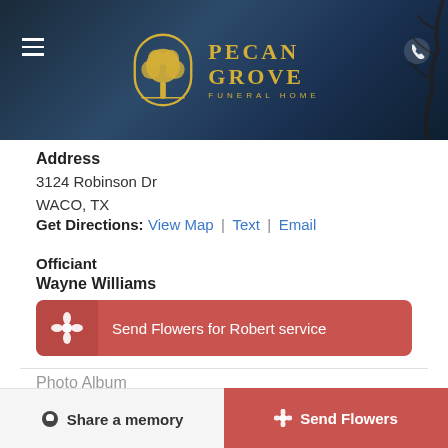[Figure (logo): Pecan Grove Funeral Home logo with tree silhouette in gold arch on dark background, with text PECAN GROVE FUNERAL HOME in gold letters]
Address
3124 Robinson Dr
WACO, TX
Get Directions: View Map | Text | Email
Officiant
Wayne Williams
Send Flowers for Robert service
Photo Album
[Figure (photo): Quilt photo thumbnail showing colorful patchwork squares]
Share a memory
Send Flowers